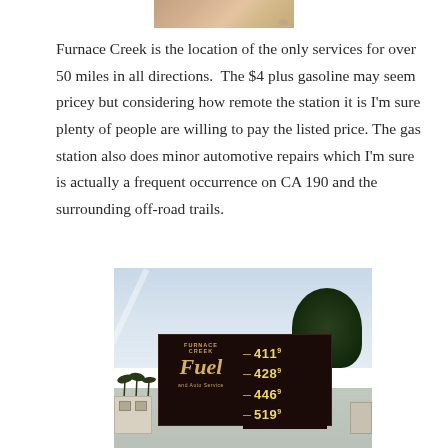[Figure (photo): Top portion of a photo, showing a sandy/desert landscape, cropped at the top of the page]
Furnace Creek is the location of the only services for over 50 miles in all directions.  The $4 plus gasoline may seem pricey but considering how remote the station it is I'm sure plenty of people are willing to pay the listed price. The gas station also does minor automotive repairs which I'm sure is actually a frequent occurrence on CA 190 and the surrounding off-road trails.
[Figure (photo): Photo of a Furnace Creek Fuel and Auto Service gas station sign showing prices: 4 1 1, 4 2 8, 4 4 6, 5 1 9, with trees and cloudy sky in the background]